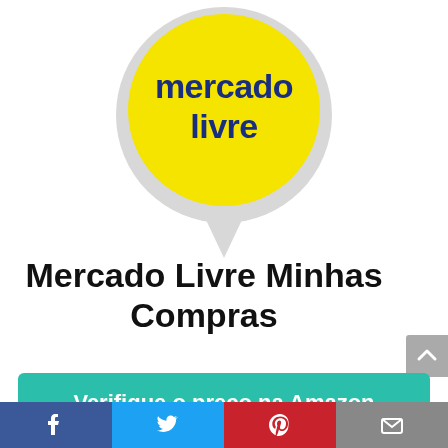[Figure (logo): Mercado Livre logo: yellow circle with dark blue text 'mercado livre' on a light gray speech-bubble pin shape]
Mercado Livre Minhas Compras
Verifique o preço na Amazon
Amazon.com.br
[Figure (infographic): Footer social sharing bar with Facebook, Twitter, Pinterest, and Email icons]